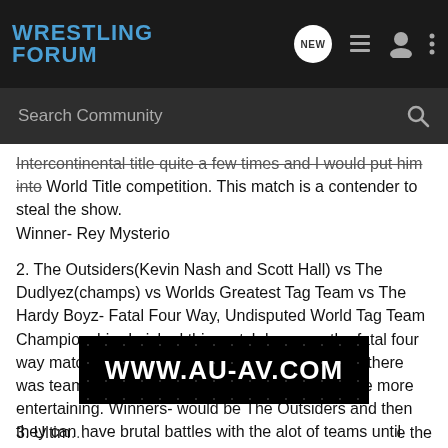WRESTLING FORUM
Intercontinental title quite a few times and I would put him into World Title competition. This match is a contender to steal the show.
Winner- Rey Mysterio
2. The Outsiders(Kevin Nash and Scott Hall) vs The Dudlyez(champs) vs Worlds Greatest Tag Team vs The Hardy Boyz- Fatal Four Way, Undisputed World Tag Team Championship- I picked this match because the fatal four way matches at mania sucked both of them but if there was teams people really wanted to see it would be more entertaining. Winners- would be The Outsiders and then they can have brutal battles with the alot of teams until they eventually lose it to the hardy boyz.
[Figure (other): Advertisement banner: WWW.AU-AV.COM on dark starry background]
3. Ultim... the